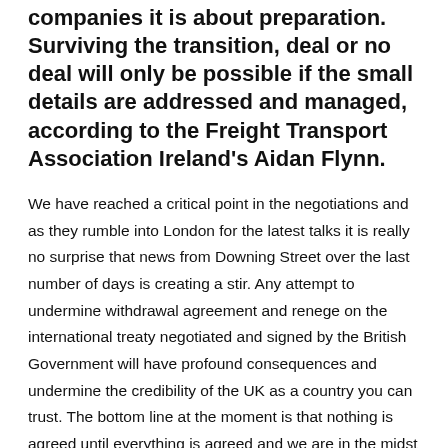companies it is about preparation. Surviving the transition, deal or no deal will only be possible if the small details are addressed and managed, according to the Freight Transport Association Ireland's Aidan Flynn.
We have reached a critical point in the negotiations and as they rumble into London for the latest talks it is really no surprise that news from Downing Street over the last number of days is creating a stir. Any attempt to undermine withdrawal agreement and renege on the international treaty negotiated and signed by the British Government will have profound consequences and undermine the credibility of the UK as a country you can trust. The bottom line at the moment is that nothing is agreed until everything is agreed and we are in the midst of a negotiation that will go to the wire before we hope deliver an agreement that delivers minimal trade barriers. What is certain though is that we in the freight distribution and